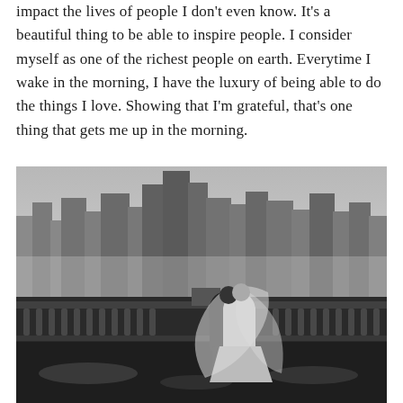impact the lives of people I don't even know. It's a beautiful thing to be able to inspire people. I consider myself as one of the richest people on earth. Everytime I wake in the morning, I have the luxury of being able to do the things I love. Showing that I'm grateful, that's one thing that gets me up in the morning.
[Figure (photo): Black and white photograph of a bride and groom kissing on a rain-wet rooftop terrace with a city skyline in the background. The bride's veil billows around them. The balustrade and wet stone surface are visible in the foreground.]